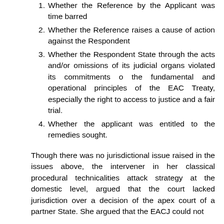1. Whether the Reference by the Applicant was time barred
2. Whether the Reference raises a cause of action against the Respondent
3. Whether the Respondent State through the acts and/or omissions of its judicial organs violated its commitments o the fundamental and operational principles of the EAC Treaty, especially the right to access to justice and a fair trial.
4. Whether the applicant was entitled to the remedies sought.
Though there was no jurisdictional issue raised in the issues above, the intervener in her classical procedural technicalities attack strategy at the domestic level, argued that the court lacked jurisdiction over a decision of the apex court of a partner State. She argued that the EACJ could not